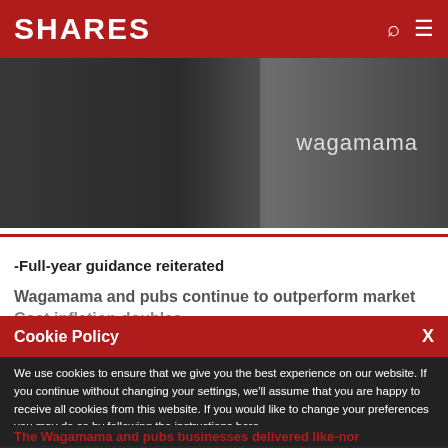SHARES
[Figure (photo): Exterior photo of a Wagamama restaurant with people sitting at tables, sign reading 'wagamama' visible on the right side]
-Full-year guidance reiterated
Wagamama and pubs continue to outperform market
Cost inflation doubles
Cookie Policy
We use cookies to ensure that we give you the best experience on our website. If you continue without changing your settings, we'll assume that you are happy to receive all cookies from this website. If you would like to change your preferences you may do so by following the instructions here.
The Wagamama and pubs businesses delivered like-nor